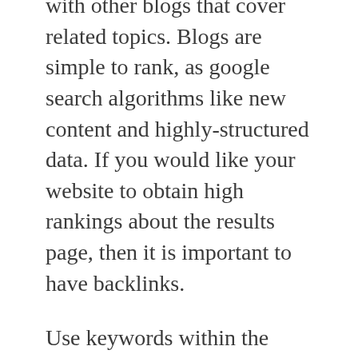start a blog of your, and get involved with other blogs that cover related topics. Blogs are simple to rank, as google search algorithms like new content and highly-structured data. If you would like your website to obtain high rankings about the results page, then it is important to have backlinks.
Use keywords within the URL of your own page. You will not receive high rankings if your site has symbols or numbers the majority of people will not hunt for. Add the keywords you will use yourself.
You may boost the volume of search results to your web page if you utilize